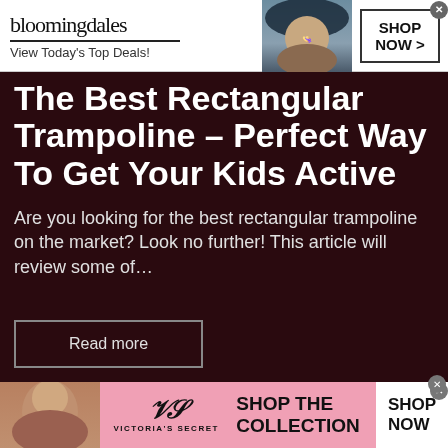[Figure (screenshot): Bloomingdale's advertisement banner with logo, 'View Today's Top Deals!' text, fashion model wearing black hat, and 'SHOP NOW >' call to action button]
The Best Rectangular Trampoline – Perfect Way To Get Your Kids Active
Are you looking for the best rectangular trampoline on the market? Look no further! This article will review some of…
Read more
[Figure (screenshot): Victoria's Secret advertisement banner with model, VS logo, 'VICTORIA'S SECRET' text, 'SHOP THE COLLECTION' text, and 'SHOP NOW' call to action button]